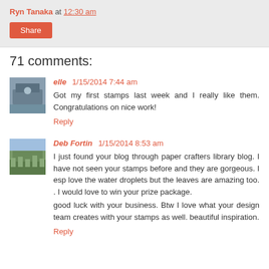Ryn Tanaka at 12:30 am
Share
71 comments:
elle 1/15/2014 7:44 am
Got my first stamps last week and I really like them. Congratulations on nice work!
Reply
Deb Fortin 1/15/2014 8:53 am
I just found your blog through paper crafters library blog. I have not seen your stamps before and they are gorgeous. I esp love the water droplets but the leaves are amazing too. . I would love to win your prize package.
good luck with your business. Btw I love what your design team creates with your stamps as well. beautiful inspiration.
Reply